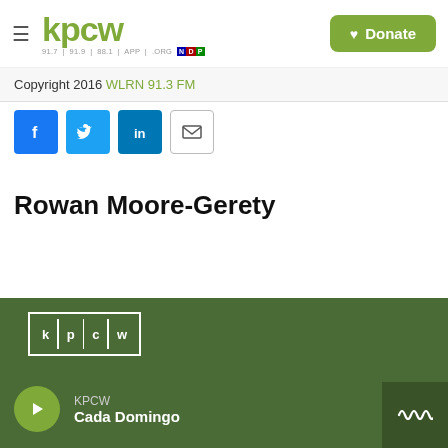KPCW — Donate
Copyright 2016 WLRN 91.3 FM
[Figure (other): Social sharing buttons: Facebook, Twitter, LinkedIn, Email]
Rowan Moore-Gerety
KPCW — Cada Domingo